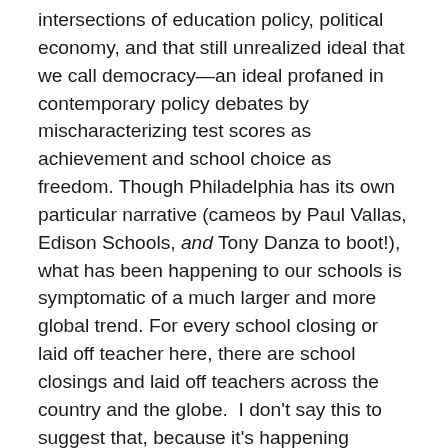intersections of education policy, political economy, and that still unrealized ideal that we call democracy—an ideal profaned in contemporary policy debates by mischaracterizing test scores as achievement and school choice as freedom. Though Philadelphia has its own particular narrative (cameos by Paul Vallas, Edison Schools, and Tony Danza to boot!), what has been happening to our schools is symptomatic of a much larger and more global trend. For every school closing or laid off teacher here, there are school closings and laid off teachers across the country and the globe.  I don't say this to suggest that, because it's happening elsewhere, it's OK for it to be happening here.  Hell no.  But this does mean that we are not alone in our predicament—a fact that is as terrifying (many others are going through similar tragedies), as it is hopeful (there could be